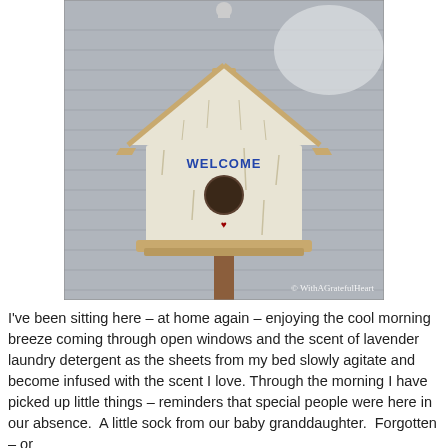[Figure (photo): A rustic white painted wooden birdhouse on a stick/pole, with a peaked roof with tan/natural wood trim edges, a round entrance hole, and 'WELCOME' written in blue letters on the front. The birdhouse appears distressed/vintage style. Background is gray siding. A watermark reads '© WithAGratefulHeart' in the lower right corner.]
I've been sitting here – at home again – enjoying the cool morning breeze coming through open windows and the scent of lavender laundry detergent as the sheets from my bed slowly agitate and become infused with the scent I love. Through the morning I have picked up little things – reminders that special people were here in our absence.  A little sock from our baby granddaughter.  Forgotten – or